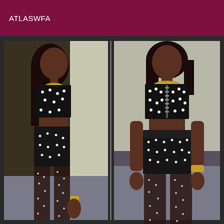ATLASWFA
[Figure (photo): Two side-by-side photos of a woman wearing a black studded two-piece outfit (strapless crop top and high-waisted shorts) with pearl-studded sheer black tights and gold accessories. Left photo shows a side view; right photo shows a front view. Background shows a hotel/venue room with a fire extinguisher visible.]